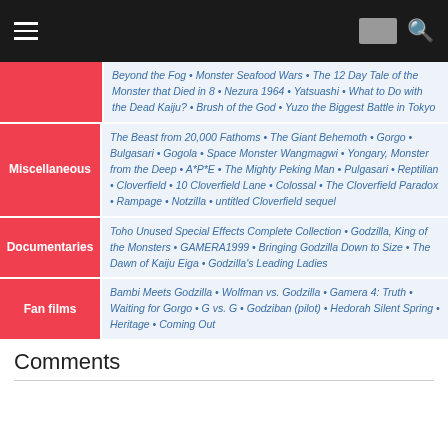Navigation bar with hamburger menu, flag icon, and search icon
| Category | Films |
| --- | --- |
| (partial) | Beyond the Fog • Monster Seafood Wars • The 12 Day Tale of the Monster that Died in 8 • Nezura 1964 • Yatsuashi • What to Do with the Dead Kaiju? • Brush of the God • Yuzo the Biggest Battle in Tokyo |
| Miscellaneous | The Beast from 20,000 Fathoms • The Giant Behemoth • Gorgo • Bulgasari • Gogola • Space Monster Wangmagwi • Yongary, Monster from the Deep • A*P*E • The Mighty Peking Man • Pulgasari • Reptilian • Cloverfield • 10 Cloverfield Lane • Colossal • The Cloverfield Paradox • Rampage • Notzilla • untitled Cloverfield sequel |
| Documentaries | Toho Unused Special Effects Complete Collection • Godzilla, King of the Monsters • GAMERA1999 • Bringing Godzilla Down to Size • The Dawn of Kaiju Eiga • Godzilla's Leading Ladies |
| Fan films | Bambi Meets Godzilla • Wolfman vs. Godzilla • Gamera 4: Truth • Waiting for Gorgo • G vs. G • Godziban (pilot) • Hedorah Silent Spring • Heritage • Coming Out |
Comments